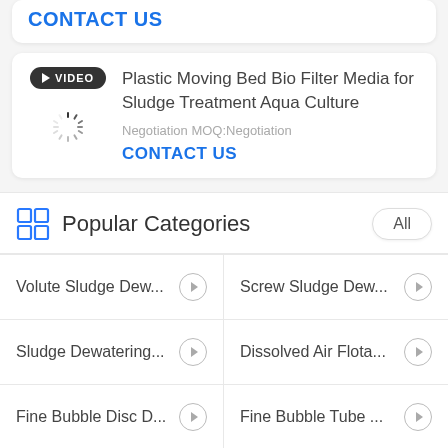CONTACT US
[Figure (screenshot): Product card with VIDEO badge and loading spinner thumbnail for 'Plastic Moving Bed Bio Filter Media for Sludge Treatment Aqua Culture']
Plastic Moving Bed Bio Filter Media for Sludge Treatment Aqua Culture
Negotiation MOQ:Negotiation
CONTACT US
Popular Categories
Volute Sludge Dew...
Screw Sludge Dew...
Sludge Dewatering...
Dissolved Air Flota...
Fine Bubble Disc D...
Fine Bubble Tube ...